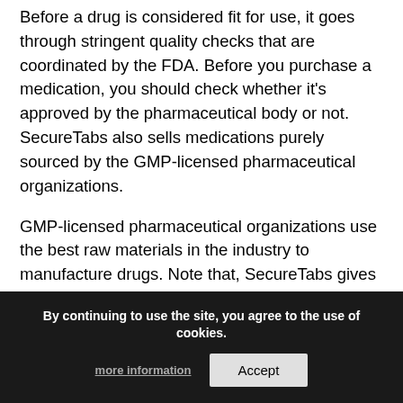Before a drug is considered fit for use, it goes through stringent quality checks that are coordinated by the FDA. Before you purchase a medication, you should check whether it's approved by the pharmaceutical body or not. SecureTabs also sells medications purely sourced by the GMP-licensed pharmaceutical organizations.
GMP-licensed pharmaceutical organizations use the best raw materials in the industry to manufacture drugs. Note that, SecureTabs gives you the opportunity to enjoy your life by reducing your medical expenses.
Privacy preservation
Impotence is an embarrassing condition that mainly affects men. It can be a bit tricky using face-to-face conversation when explaining your condition to a health professional. SecureTabs offers you an opportunity to have online conversations with a health professional or a doctor. The online
By continuing to use the site, you agree to the use of cookies.
more information
Accept